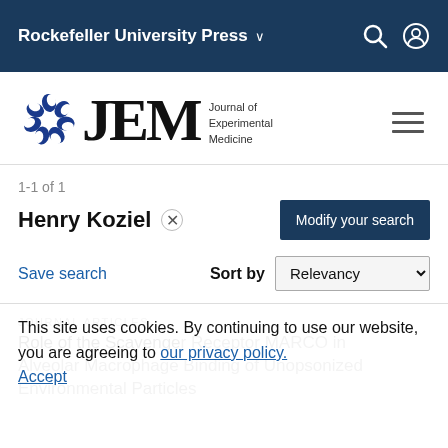Rockefeller University Press
[Figure (logo): JEM – Journal of Experimental Medicine logo with blue circular emblem and serif JEM text]
1-1 of 1
Henry Koziel ×
Modify your search
Save search
Sort by Relevancy
JOURNAL ARTICLES
This site uses cookies. By continuing to use our website, you are agreeing to our privacy policy. Accept
Role of the Scavenger Receptor MARCO in Alveolar Macrophage Binding of Unopsonized Environmental Particles